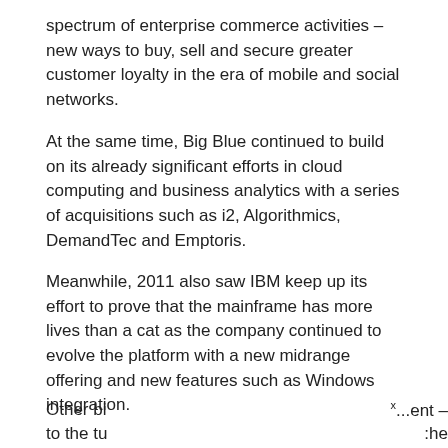spectrum of enterprise commerce activities – new ways to buy, sell and secure greater customer loyalty in the era of mobile and social networks.
At the same time, Big Blue continued to build on its already significant efforts in cloud computing and business analytics with a series of acquisitions such as i2, Algorithmics, DemandTec and Emptoris.
Meanwhile, 2011 also saw IBM keep up its effort to prove that the mainframe has more lives than a cat as the company continued to evolve the platform with a new midrange offering and new features such as Windows integration.
Other bi[...] ...ent – to the tu[...] :he